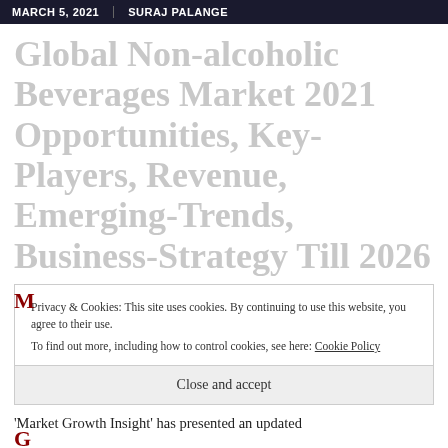MARCH 5, 2021 | SURAJ PALANGE
Global Non-alcoholic Beverages Market 2021 Opportunities, Key-Players, Revenue, Emerging-Trends, Business-Strategy Till 2026
Privacy & Cookies: This site uses cookies. By continuing to use this website, you agree to their use. To find out more, including how to control cookies, see here: Cookie Policy
Close and accept
'Market Growth Insight' has presented an updated